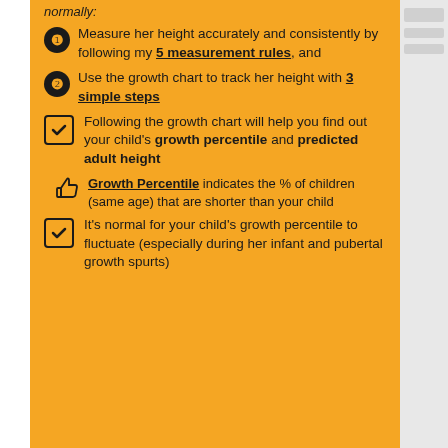normally:
Measure her height accurately and consistently by following my 5 measurement rules, and
Use the growth chart to track her height with 3 simple steps
Following the growth chart will help you find out your child's growth percentile and predicted adult height
Growth Percentile indicates the % of children (same age) that are shorter than your child
It's normal for your child's growth percentile to fluctuate (especially during her infant and pubertal growth spurts)